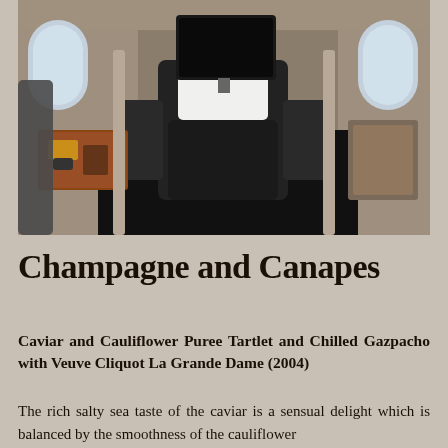[Figure (photo): Interior of an airplane business class cabin showing a flatbed seat in dark leather with a white pillow, a personal entertainment screen mounted above, beige cabin walls with oval windows, and a wooden tray table visible on the left side.]
Champagne and Canapes
Caviar and Cauliflower Puree Tartlet and Chilled Gazpacho with Veuve Cliquot La Grande Dame (2004)
The rich salty sea taste of the caviar is a sensual delight which is balanced by the smoothness of the cauliflower